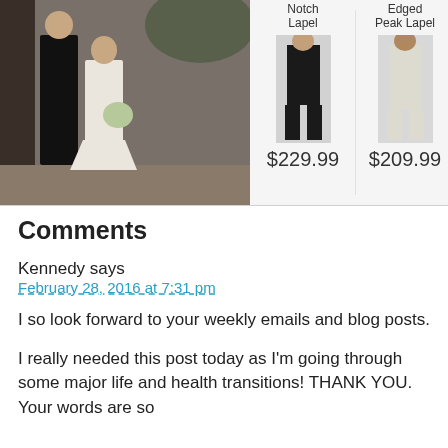[Figure (photo): Wedding photo showing a couple, the groom in a dark suit and the bride in a white dress holding flowers, at a ceremony. Alongside the photo are product images of suits: one dark suit labeled 'Notch Lapel' priced at $229.99 and one light suit labeled 'Edged Peak Lapel' priced at $209.99.]
Comments
Kennedy says
February 28, 2016 at 7:31 pm
I so look forward to your weekly emails and blog posts.
I really needed this post today as I'm going through some major life and health transitions! THANK YOU. Your words are so